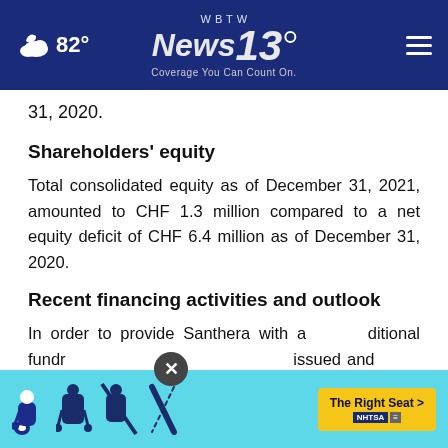82° | WBTW News 13 | Coverage You Can Count On.
31, 2020.
Shareholders' equity
Total consolidated equity as of December 31, 2021, amounted to CHF 1.3 million compared to a net equity deficit of CHF 6.4 million as of December 31, 2020.
Recent financing activities and outlook
In order to provide Santhera with additional funding, Santhera has issued and plans to issue additional treasury shares.